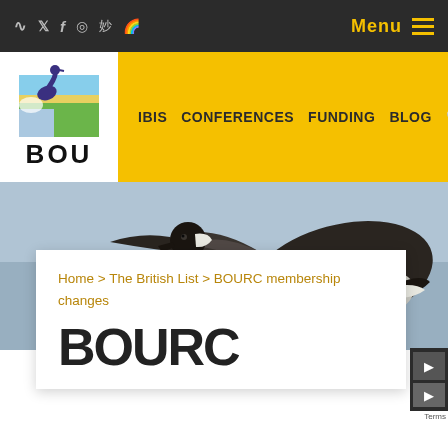RSS Twitter Facebook Instagram Weibo Rainbow | Menu
[Figure (logo): BOU (British Ornithologists' Union) logo with bird illustration above text BOU]
IBIS   CONFERENCES   FUNDING   BLOG   🔍
[Figure (photo): A brant goose (dark seabird with white markings) in flight against a grey-blue sky background]
Home > The British List > BOURC membership changes
BOURC